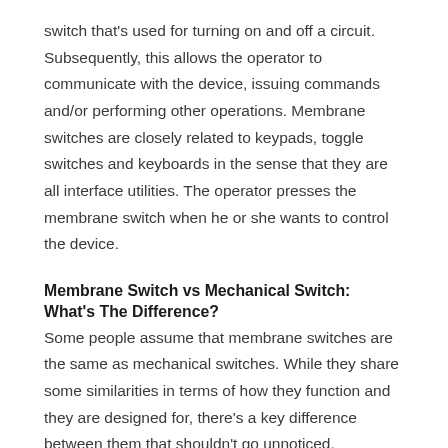switch that's used for turning on and off a circuit. Subsequently, this allows the operator to communicate with the device, issuing commands and/or performing other operations. Membrane switches are closely related to keypads, toggle switches and keyboards in the sense that they are all interface utilities. The operator presses the membrane switch when he or she wants to control the device.
Membrane Switch vs Mechanical Switch: What's The Difference?
Some people assume that membrane switches are the same as mechanical switches. While they share some similarities in terms of how they function and they are designed for, there's a key difference between them that shouldn't go unnoticed. Mechanical switches are normally made of a combination of copper and plastic parts, with the copper being conductive and the